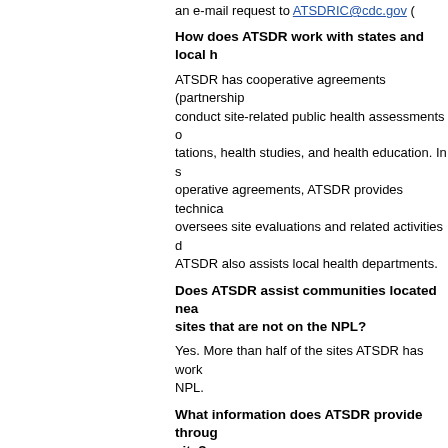an e-mail request to ATSDRIC@cdc.gov
How does ATSDR work with states and local h
ATSDR has cooperative agreements (partnership conduct site-related public health assessments o tations, health studies, and health education. In s operative agreements, ATSDR provides technica oversees site evaluations and related activities d ATSDR also assists local health departments.
Does ATSDR assist communities located nea sites that are not on the NPL?
Yes. More than half of the sites ATSDR has work NPL.
What information does ATSDR provide throug site?
Information that can be accessed through ATSDR these items: information about ATSDR; a databas information on all sites where ATSDR has worked fact sheets on 60 of the most common contamina sites; and links to related sites.
Chemical Exposure and Health Effects